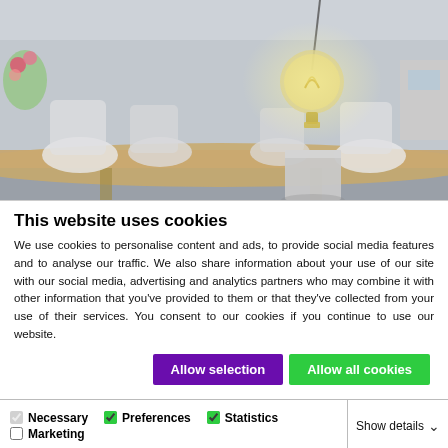[Figure (photo): Blurred interior room photo showing a dining table with white chairs, plants, and a prominent Edison bulb lamp on a concrete cube base in the foreground]
This website uses cookies
We use cookies to personalise content and ads, to provide social media features and to analyse our traffic. We also share information about your use of our site with our social media, advertising and analytics partners who may combine it with other information that you've provided to them or that they've collected from your use of their services. You consent to our cookies if you continue to use our website.
Allow selection | Allow all cookies
Necessary  Preferences  Statistics  Marketing  Show details